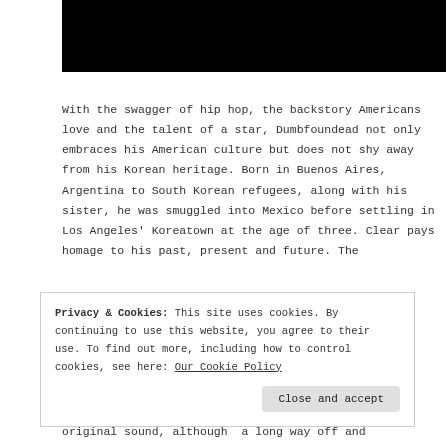[Figure (photo): Black rectangular bar at the top of the page, likely a redacted or cropped image area]
With the swagger of hip hop, the backstory Americans love and the talent of a star, Dumbfoundead not only embraces his American culture but does not shy away from his Korean heritage. Born in Buenos Aires, Argentina to South Korean refugees, along with his sister, he was smuggled into Mexico before settling in Los Angeles' Koreatown at the age of three. Clear pays homage to his past, present and future. The
Privacy & Cookies: This site uses cookies. By continuing to use this website, you agree to their use. To find out more, including how to control cookies, see here: Our Cookie Policy
Close and accept
original sound, although  a long way off and